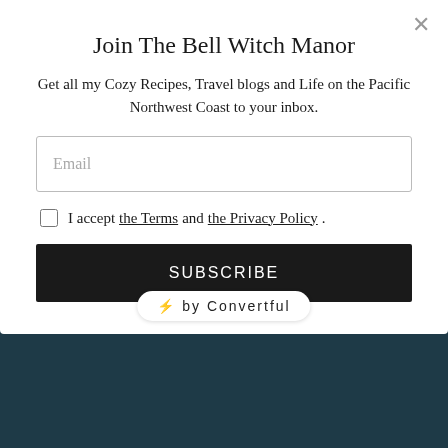Join The Bell Witch Manor
Get all my Cozy Recipes, Travel blogs and Life on the Pacific Northwest Coast to your inbox.
Email
I accept the Terms and the Privacy Policy.
SUBSCRIBE
⚡ by Convertful
August 2019
July 2019
May 2019
April 2019
March 2019